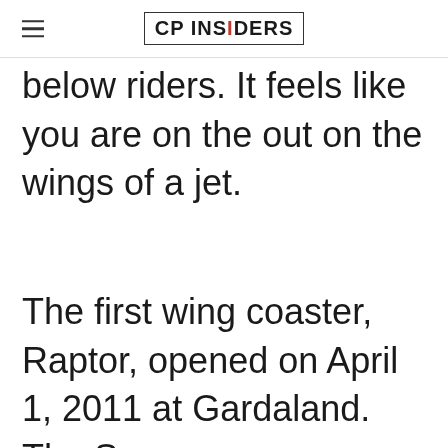CP INSIDERS
below riders. It feels like you are on the out on the wings of a jet.
The first wing coaster, Raptor, opened on April 1, 2011 at Gardaland. The Swan...